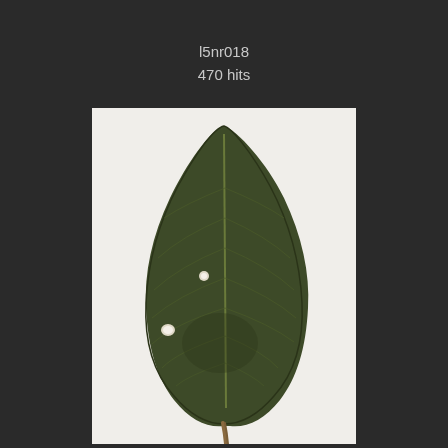l5nr018
470 hits
[Figure (photo): A photograph of a dark green serrated leaf with visible veins and two small light spots/holes, photographed against a white background. The leaf has a pointed tip and a reddish-brown petiole (stem) at the bottom.]